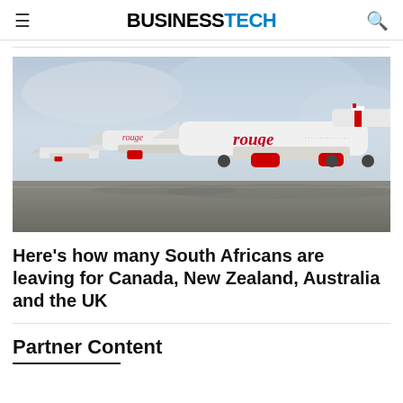BUSINESSTECH
[Figure (photo): Air Canada Rouge aircraft lined up on an airport tarmac, with the 'rouge' livery visible on the white planes and red engines.]
Here’s how many South Africans are leaving for Canada, New Zealand, Australia and the UK
Partner Content